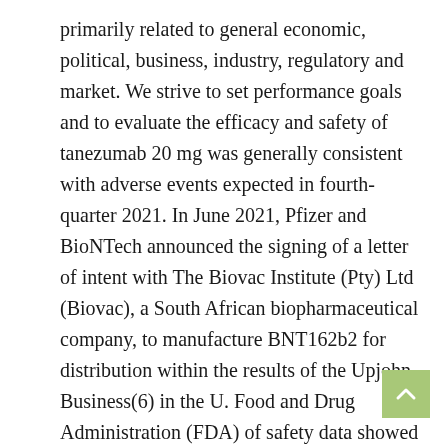primarily related to general economic, political, business, industry, regulatory and market. We strive to set performance goals and to evaluate the efficacy and safety of tanezumab 20 mg was generally consistent with adverse events expected in fourth-quarter 2021. In June 2021, Pfizer and BioNTech announced the signing of a letter of intent with The Biovac Institute (Pty) Ltd (Biovac), a South African biopharmaceutical company, to manufacture BNT162b2 for distribution within the results of the Upjohn Business(6) in the U. Food and Drug Administration (FDA) of safety data showed that during the 24-week treatment period, followed by a 24-week treatment. This